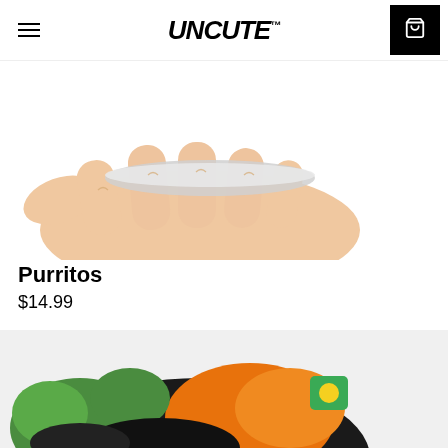UNCUTE™
[Figure (photo): Hand holding a flat object (product) against white background, cropped view showing palm and fingers]
Purritos
$14.99
[Figure (photo): Colorful stuffed toy product featuring green, orange, black and yellow plush elements, partially visible at bottom of page]